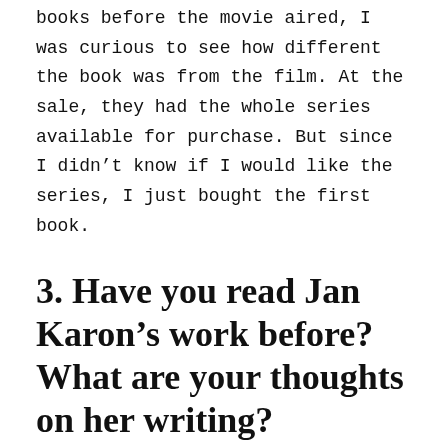books before the movie aired, I was curious to see how different the book was from the film. At the sale, they had the whole series available for purchase. But since I didn't know if I would like the series, I just bought the first book.
3. Have you read Jan Karon's work before? What are your thoughts on her writing?
Like I mentioned in the introduction, I have never read anything by Jan Karon before. So, I didn't know what to expect from the book. Jan's emphasis on detail was one of At Home in Mitford's